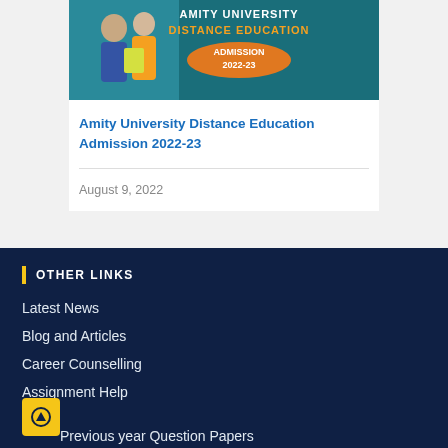[Figure (illustration): Amity University Distance Education Admission 2022-23 promotional banner with students and teal background]
Amity University Distance Education Admission 2022-23
August 9, 2022
OTHER LINKS
Latest News
Blog and Articles
Career Counselling
Assignment Help
Previous year Question Papers